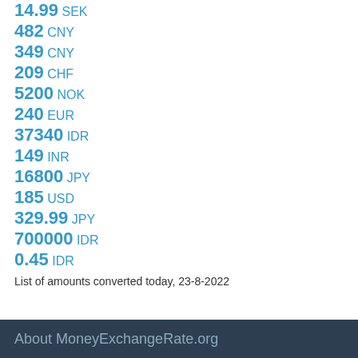14.99 SEK
482 CNY
349 CNY
209 CHF
5200 NOK
240 EUR
37340 IDR
149 INR
16800 JPY
185 USD
329.99 JPY
700000 IDR
0.45 IDR
List of amounts converted today, 23-8-2022
About MoneyExchangeRate.org